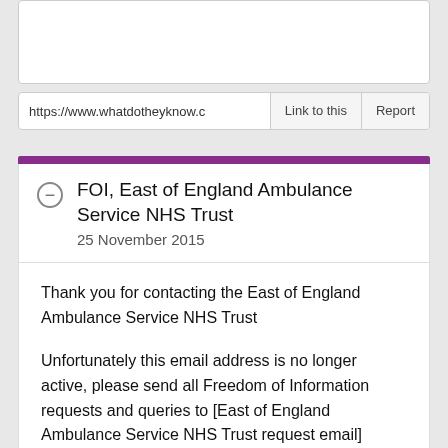[Figure (screenshot): Top white card area (partial, cropped at top)]
https://www.whatdotheyknow.c
Link to this
Report
FOI, East of England Ambulance Service NHS Trust
25 November 2015
Thank you for contacting the East of England Ambulance Service NHS Trust
Unfortunately this email address is no longer active, please send all Freedom of Information requests and queries to [East of England Ambulance Service NHS Trust request email]
This email transmission and all attached files contain